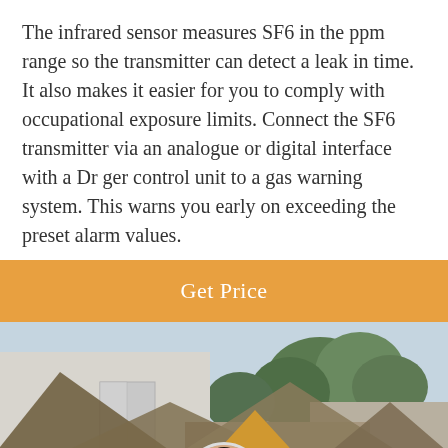The infrared sensor measures SF6 in the ppm range so the transmitter can detect a leak in time. It also makes it easier for you to comply with occupational exposure limits. Connect the SF6 transmitter via an analogue or digital interface with a Dr ger control unit to a gas warning system. This warns you early on exceeding the preset alarm values.
Get Price
[Figure (photo): Outdoor photo showing industrial or utility building structures with triangular rooflines, wooden beams in an orange/brown color, trees in background, light blue sky, and a blue horn/speaker device mounted on a wall on the left side.]
Leave Message
Chat Online